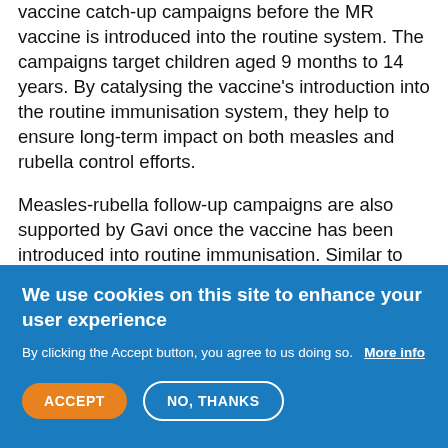vaccine catch-up campaigns before the MR vaccine is introduced into the routine system. The campaigns target children aged 9 months to 14 years. By catalysing the vaccine's introduction into the routine immunisation system, they help to ensure long-term impact on both measles and rubella control efforts.
Measles-rubella follow-up campaigns are also supported by Gavi once the vaccine has been introduced into routine immunisation. Similar to measles follow-up campaigns, these campaigns are aimed at addressing gaps in measles immunity in the population.
We use cookies on this site to enhance your user experience
By clicking the Accept button, you agree to us doing so. More info
ACCEPT
NO, THANKS